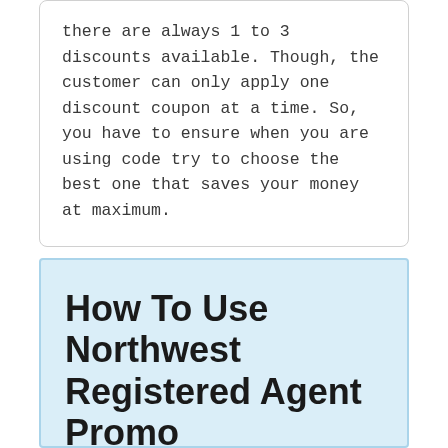there are always 1 to 3 discounts available. Though, the customer can only apply one discount coupon at a time. So, you have to ensure when you are using code try to choose the best one that saves your money at maximum.
How To Use Northwest Registered Agent Promo